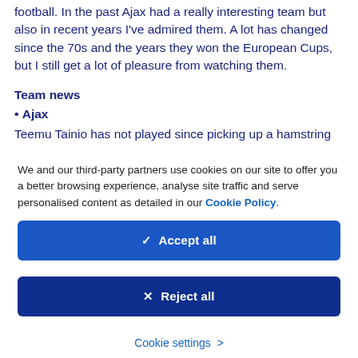football. In the past Ajax had a really interesting team but also in recent years I've admired them. A lot has changed since the 70s and the years they won the European Cups, but I still get a lot of pleasure from watching them.
Team news
• Ajax
Teemu Tainio has not played since picking up a hamstring
We and our third-party partners use cookies on our site to offer you a better browsing experience, analyse site traffic and serve personalised content as detailed in our Cookie Policy.
✓  Accept all
✕  Reject all
Cookie settings  >